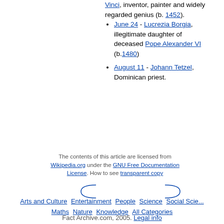Vinci, inventor, painter and widely regarded genius (b. 1452).
June 24 - Lucrezia Borgia, illegitimate daughter of deceased Pope Alexander VI (b.1480)
August 11 - Johann Tetzel, Dominican priest.
The contents of this article are licensed from Wikipedia.org under the GNU Free Documentation License. How to see transparent copy
Arts and Culture  Entertainment  People  Science  Social Science  Maths  Nature  Knowledge  All Categories
Fact Archive.com, 2005. Legal info